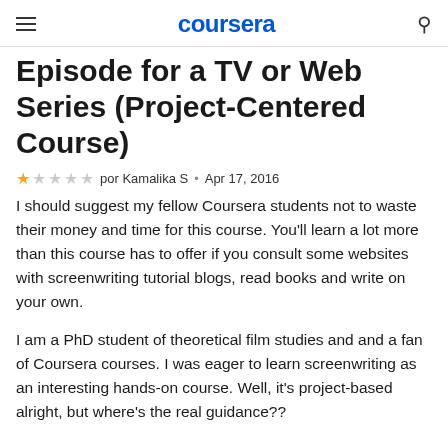coursera
Episode for a TV or Web Series (Project-Centered Course)
★☆☆☆☆ por Kamalika S · Apr 17, 2016
I should suggest my fellow Coursera students not to waste their money and time for this course. You'll learn a lot more than this course has to offer if you consult some websites with screenwriting tutorial blogs, read books and write on your own.
I am a PhD student of theoretical film studies and and a fan of Coursera courses. I was eager to learn screenwriting as an interesting hands-on course. Well, it's project-based alright, but where's the real guidance??